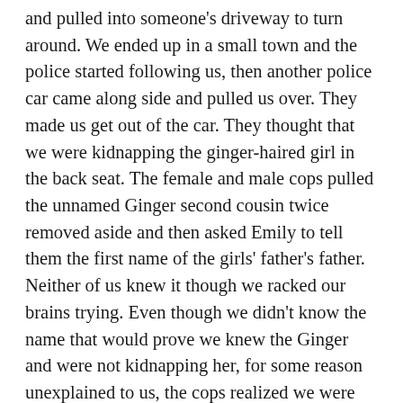and pulled into someone's driveway to turn around. We ended up in a small town and the police started following us, then another police car came along side and pulled us over. They made us get out of the car. They thought that we were kidnapping the ginger-haired girl in the back seat. The female and male cops pulled the unnamed Ginger second cousin twice removed aside and then asked Emily to tell them the first name of the girls' father's father. Neither of us knew it though we racked our brains trying. Even though we didn't know the name that would prove we knew the Ginger and were not kidnapping her, for some reason unexplained to us, the cops realized we were not kidnappers and let us go. We went to a cafeteria line where suddenly my cousin Amy and my sister Janet appeared and the second cousin twice removed disappeared. I put a plastic container of salad with edemame beans on my tray. Emily asked for the two taco plate. I decided